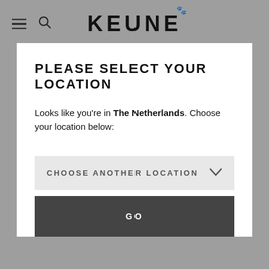[Figure (logo): KEUNE brand logo with paw print icon above the E, displayed in bold black uppercase letters]
PLEASE SELECT YOUR LOCATION
Looks like you're in The Netherlands. Choose your location below:
CHOOSE ANOTHER LOCATION
GO